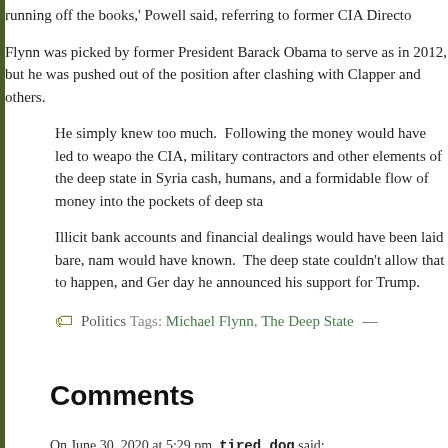running off the books,' Powell said, referring to former CIA Directo
Flynn was picked by former President Barack Obama to serve as in 2012, but he was pushed out of the position after clashing with Clapper and others.
He simply knew too much. Following the money would have led to weapo the CIA, military contractors and other elements of the deep state in Syria cash, humans, and a formidable flow of money into the pockets of deep sta
Illicit bank accounts and financial dealings would have been laid bare, nam would have known. The deep state couldn't allow that to happen, and Ger day he announced his support for Trump.
Politics Tags: Michael Flynn, The Deep State —
Comments
On June 30, 2020 at 5:29 pm, tired dog said:
Nothing to see here. Clapper et al have probably cached millions in forei